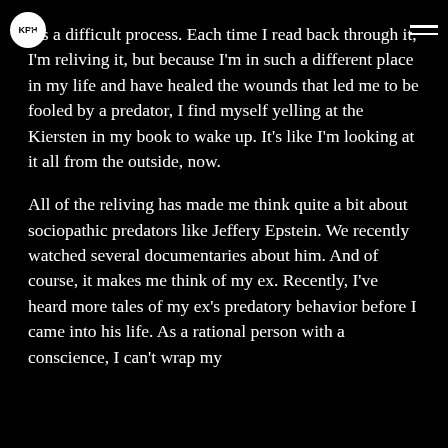KPH [logo] [hamburger menu]
It's a difficult process. Each time I read back through it, I'm reliving it, but because I'm in such a different place in my life and have healed the wounds that led me to be fooled by a predator, I find myself yelling at the Kiersten in my book to wake up. It's like I'm looking at it all from the outside, now.
All of the reliving has made me think quite a bit about sociopathic predators like Jeffery Epstein. We recently watched several documentaries about him. And of course, it makes me think of my ex. Recently, I've heard more tales of my ex's predatory behavior before I came into his life. As a rational person with a conscience, I can't wrap my